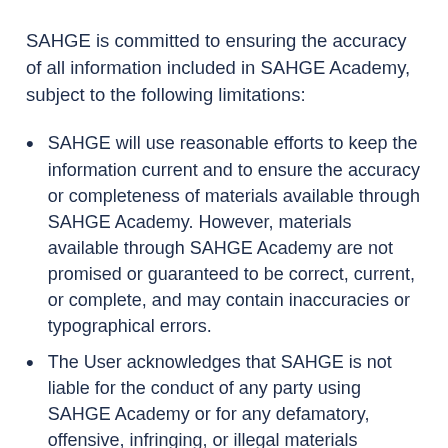SAHGE is committed to ensuring the accuracy of all information included in SAHGE Academy, subject to the following limitations:
SAHGE will use reasonable efforts to keep the information current and to ensure the accuracy or completeness of materials available through SAHGE Academy. However, materials available through SAHGE Academy are not promised or guaranteed to be correct, current, or complete, and may contain inaccuracies or typographical errors.
The User acknowledges that SAHGE is not liable for the conduct of any party using SAHGE Academy or for any defamatory, offensive, infringing, or illegal materials contained on